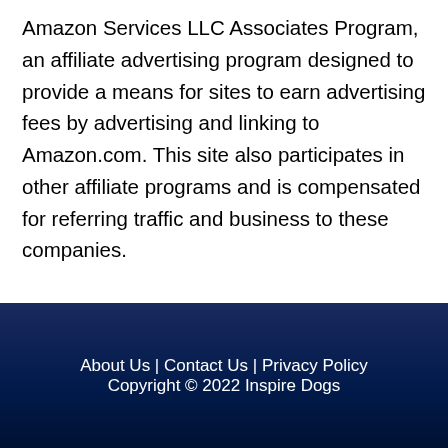Amazon Services LLC Associates Program, an affiliate advertising program designed to provide a means for sites to earn advertising fees by advertising and linking to Amazon.com. This site also participates in other affiliate programs and is compensated for referring traffic and business to these companies.
About Us | Contact Us | Privacy Policy
Copyright © 2022 Inspire Dogs